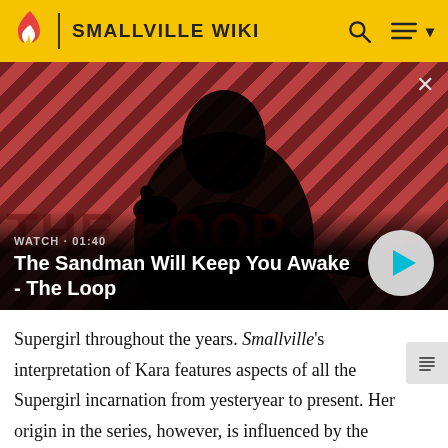SMALLVILLE WIKI
[Figure (screenshot): Video thumbnail for 'The Sandman Will Keep You Awake - The Loop' featuring a dark figure with a crow on their shoulder against a diagonal red and dark striped background. Shows WATCH • 01:40 label and a play button.]
Supergirl throughout the years. Smallville's interpretation of Kara features aspects of all the Supergirl incarnations from yesteryear to present. Her origin in the series, however, is influenced by the then-current Kara's incarnation, who was older than Clark and believed for a